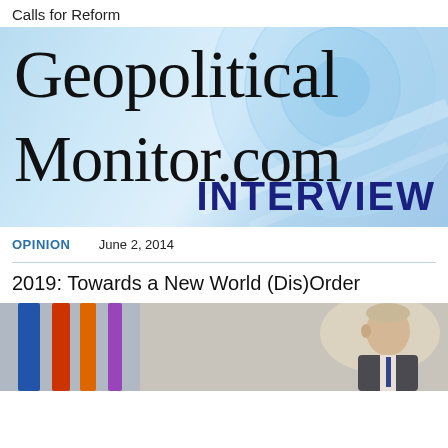Calls for Reform
[Figure (illustration): GeopoliticalMonitor.com Interview banner with large serif text on blue gradient background with circular design elements]
OPINION
June 2, 2014
2019: Towards a New World (Dis)Order
[Figure (photo): Photo showing colorful flags (blue, red, orange) on the left and a man (Putin) in a suit on the right, with a light background]